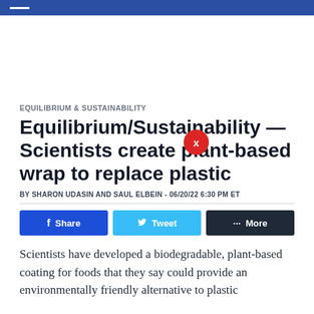EQUILIBRIUM & SUSTAINABILITY
Equilibrium/Sustainability — Scientists create plant-based wrap to replace plastic
BY SHARON UDASIN AND SAUL ELBEIN - 06/20/22 6:30 PM ET
Share  Tweet  More
Scientists have developed a biodegradable, plant-based coating for foods that they say could provide an environmentally friendly alternative to plastic